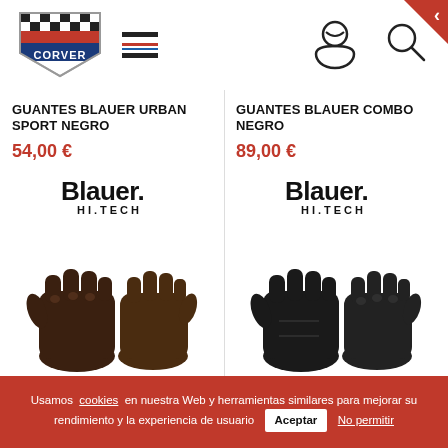[Figure (logo): Corver motorsport logo with checkered flag pattern, red and blue shield shape]
[Figure (illustration): Hamburger menu icon with three horizontal lines in black and red/blue]
[Figure (illustration): User/person icon outline]
[Figure (illustration): Search/magnifying glass icon outline]
GUANTES BLAUER URBAN SPORT NEGRO
54,00 €
[Figure (logo): Blauer HI.TECH brand logo in black]
[Figure (photo): Brown leather motorcycle gloves, front and back view]
GUANTES BLAUER COMBO NEGRO
89,00 €
[Figure (logo): Blauer HI.TECH brand logo in black]
[Figure (photo): Black leather motorcycle gloves, front and back view]
Usamos cookies en nuestra Web y herramientas similares para mejorar su rendimiento y la experiencia de usuario Aceptar No permitir